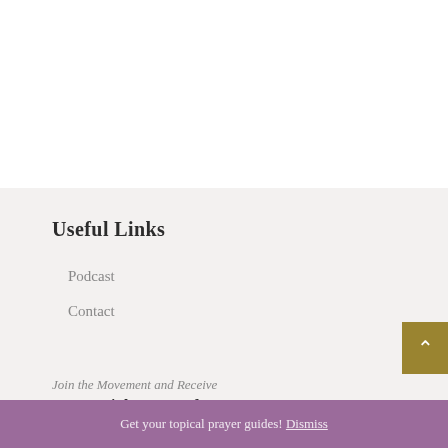Useful Links
Podcast
Contact
Join the Movement and Receive
7 Essential Prayers for Every Mom
Get your topical prayer guides! Dismiss